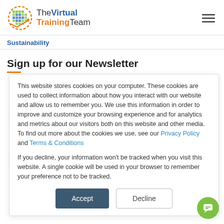The Virtual Training Team
Sustainability
Sign up for our Newsletter
This website stores cookies on your computer. These cookies are used to collect information about how you interact with our website and allow us to remember you. We use this information in order to improve and customize your browsing experience and for analytics and metrics about our visitors both on this website and other media. To find out more about the cookies we use, see our Privacy Policy and Terms & Conditions
If you decline, your information won't be tracked when you visit this website. A single cookie will be used in your browser to remember your preference not to be tracked.